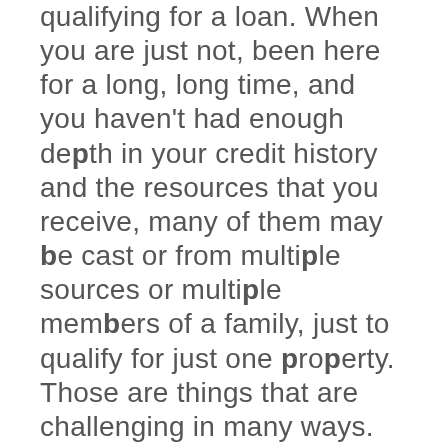qualifying for a loan. When you are just not, been here for a long, long time, and you haven't had enough depth in your credit history and the resources that you receive, many of them may be cast or from multiple sources or multiple members of a family, just to qualify for just one property. Those are things that are challenging in many ways. We prepare them long enough until they do qualify. The community has seen the delivering of our work. They have seen what we've done with many people that didn't think that they were able to buy a house yet, and we prepared them and we told them what they needed and they achieved the dream. So that example, delivered, so many times has given us the